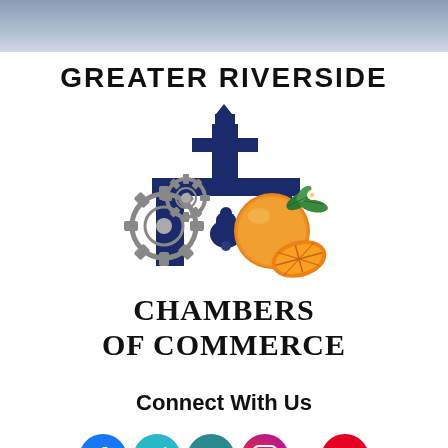[Figure (logo): Grey-blue header bar at top of page]
GREATER RIVERSIDE
[Figure (logo): Greater Riverside Chambers of Commerce logo: dark blue triangular arch/gateway structure with bell, flanked by grey gear/cog wheels on the left and an orange with leaves on the right]
CHAMBERS OF COMMERCE
Connect With Us
[Figure (logo): Social media icons row: Facebook (blue circle with f), Twitter (teal circle with bird), LinkedIn (teal circle with in), Instagram (gradient circle with camera), Pinterest (red circle with P)]